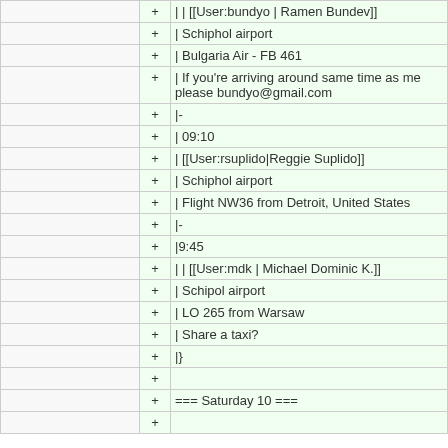| (old) | +/- | (new) |
| --- | --- | --- |
|  | + | | | [[User:bundyo | Ramen Bundev]] |
|  | + | | Schiphol airport |
|  | + | | Bulgaria Air - FB 461 |
|  | + | | If you're arriving around same time as me please bundyo@gmail.com |
|  | + | |- |
|  | + | | 09:10 |
|  | + | | [[User:rsuplido|Reggie Suplido]] |
|  | + | | Schiphol airport |
|  | + | | Flight NW36 from Detroit, United States |
|  | + | |- |
|  | + | |9:45 |
|  | + | | | [[User:mdk | Michael Dominic K.]] |
|  | + | | Schipol airport |
|  | + | | LO 265 from Warsaw |
|  | + | | Share a taxi? |
|  | + | |} |
|  | + |  |
|  | + | === Saturday 10 === |
|  | + |  |